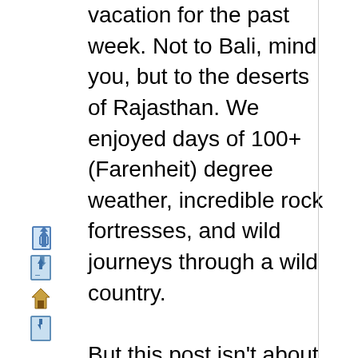vacation for the past week. Not to Bali, mind you, but to the deserts of Rajasthan. We enjoyed days of 100+ (Farenheit) degree weather, incredible rock fortresses, and wild journeys through a wild country.

But this post isn't about Rajasthan (although just to be fair, I've posted what is currently my desktop
[Figure (illustration): Three small pixel/icon style navigation arrows: up arrow document icon, home icon, down arrow document icon stacked vertically on the left sidebar]
[Figure (illustration): Four country flag icons stacked vertically: French flag (blue/white/red), German flag (black/red/yellow), Spanish flag (red/yellow/red), Italian flag (green/white/red)]